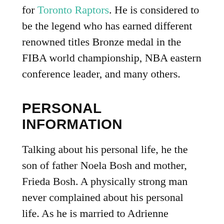for Toronto Raptors. He is considered to be the legend who has earned different renowned titles Bronze medal in the FIBA world championship, NBA eastern conference leader, and many others.
PERSONAL INFORMATION
Talking about his personal life, he the son of father Noela Bosh and mother, Frieda Bosh. A physically strong man never complained about his personal life. As he is married to Adrienne Williams Bosh, she was a former model. They both are happy with their married life and contributing from there one